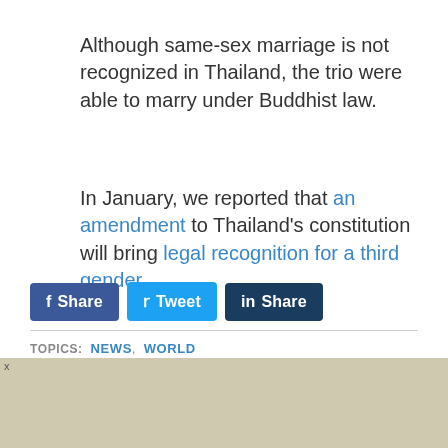Although same-sex marriage is not recognized in Thailand, the trio were able to marry under Buddhist law.
In January, we reported that an amendment to Thailand's constitution will bring legal recognition for a third gender.
[Figure (other): Social media sharing buttons: Facebook Share, Twitter Tweet, LinkedIn Share]
TOPICS: NEWS, WORLD